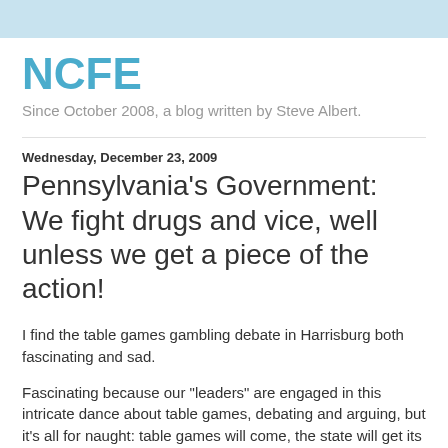NCFE
Since October 2008, a blog written by Steve Albert.
Wednesday, December 23, 2009
Pennsylvania's Government: We fight drugs and vice, well unless we get a piece of the action!
I find the table games gambling debate in Harrisburg both fascinating and sad.
Fascinating because our "leaders" are engaged in this intricate dance about table games, debating and arguing, but it's all for naught: table games will come, the state will get its cut, and legislators will get more WAM to buy re-election (I mean to dispense to worthy local projects).